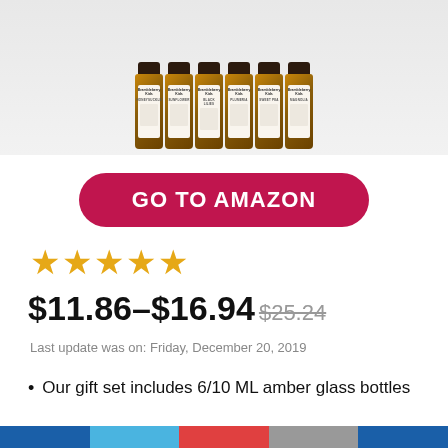[Figure (photo): Six amber glass essential oil bottles with dark caps, labeled Honeysuckle, Sunflower, Black Lilies, Plumeria, Sweet Pea, Magnolia, arranged in a row against a light background.]
GO TO AMAZON
[Figure (other): Five gold/orange star rating icons]
$11.86–$16.94 $25.24
Last update was on: Friday, December 20, 2019
Our gift set includes 6/10 ML amber glass bottles